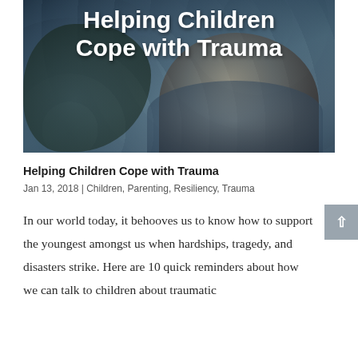[Figure (photo): Hero image showing a child's face with a hood, in dark blue/teal tones, with white bold text overlay reading 'Helping Children Cope with Trauma']
Helping Children Cope with Trauma
Jan 13, 2018 | Children, Parenting, Resiliency, Trauma
In our world today, it behooves us to know how to support the youngest amongst us when hardships, tragedy, and disasters strike. Here are 10 quick reminders about how we can talk to children about traumatic